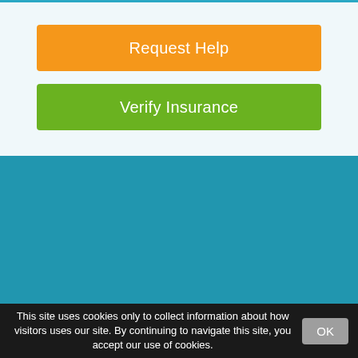Request Help
Verify Insurance
QUICK LINKS
Home
Check Insurance
Our Facilities
This site uses cookies only to collect information about how visitors uses our site. By continuing to navigate this site, you accept our use of cookies.